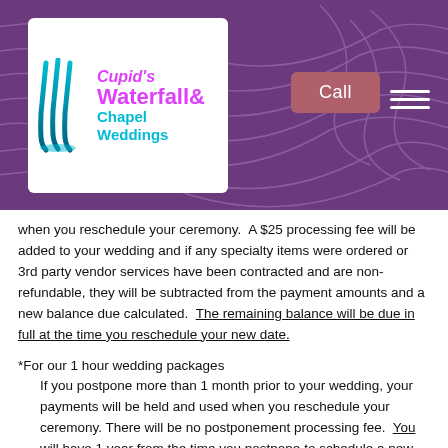[Figure (logo): Cupid's Waterfall & Chapel Weddings logo on purple header background with topo lines, Call button and hamburger menu]
when you reschedule your ceremony.  A $25 processing fee will be added to your wedding and if any specialty items were ordered or 3rd party vendor services have been contracted and are non-refundable, they will be subtracted from the payment amounts and a new balance due calculated.  The remaining balance will be due in full at the time you reschedule your new date.
*For our 1 hour wedding packages
    If you postpone more than 1 month prior to your wedding, your payments will be held and used when you reschedule your ceremony. There will be no postponement processing fee.  You will have 1 year from the time you postpone to schedule a new date and time at